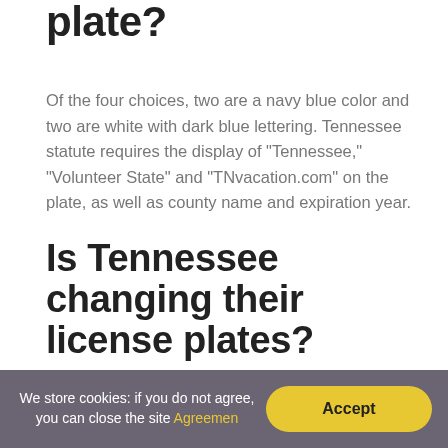plate?
Of the four choices, two are a navy blue color and two are white with dark blue lettering. Tennessee statute requires the display of “Tennessee,” “Volunteer State” and “TNvacation.com” on the plate, as well as county name and expiration year.
Is Tennessee changing their license plates?
More than 300,000 Tennessee residents cast a vote, with 42% voting for the winning design. New plates will be available online and in-person beginning
We store cookies: if you do not agree, you can close the site Agreemen… Accept